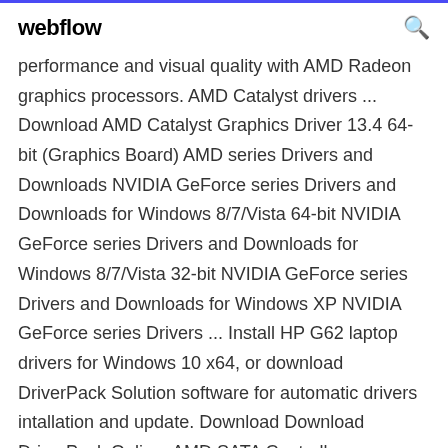webflow
performance and visual quality with AMD Radeon graphics processors. AMD Catalyst drivers ... Download AMD Catalyst Graphics Driver 13.4 64-bit (Graphics Board) AMD series Drivers and Downloads NVIDIA GeForce series Drivers and Downloads for Windows 8/7/Vista 64-bit NVIDIA GeForce series Drivers and Downloads for Windows 8/7/Vista 32-bit NVIDIA GeForce series Drivers and Downloads for Windows XP NVIDIA GeForce series Drivers ... Install HP G62 laptop drivers for Windows 10 x64, or download DriverPack Solution software for automatic drivers intallation and update. Download Download DriverPack Online. AMD SATA Controller. Download driver. AMD Mobility